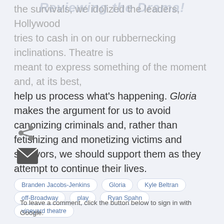Reviewing the Drama!
the survivors, we idolized the leaders, Hollywood tries to cash in on our rubbernecking inclinations. Theatre is meant to express something of the moment and, at its best, help us process what's happening. Gloria makes the argument for us to avoid canonizing criminals and, rather than fetishizing and monetizing victims and survivors, we should support them as they attempt to continue their lives.
[Figure (other): Share icon (less-than symbol style share button)]
[Figure (other): Email envelope icon button]
Branden Jacobs-Jenkins
Gloria
Kyle Beltran
off-Broadway
play
Ryan Spahn
vineyard theatre
To leave a comment, click the button below to sign in with Google.